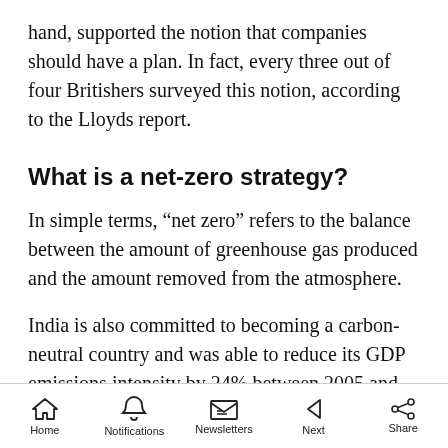hand, supported the notion that companies should have a plan. In fact, every three out of four Britishers surveyed this notion, according to the Lloyds report.
What is a net-zero strategy?
In simple terms, “net zero” refers to the balance between the amount of greenhouse gas produced and the amount removed from the atmosphere.
India is also committed to becoming a carbon-neutral country and was able to reduce its GDP emissions intensity by 24% between 2005 and
Home  Notifications  Newsletters  Next  Share